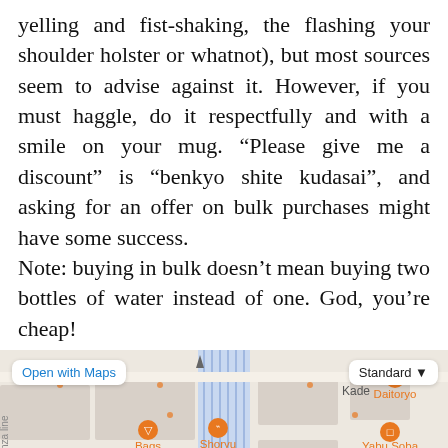yelling and fist-shaking, the flashing your shoulder holster or whatnot), but most sources seem to advise against it. However, if you must haggle, do it respectfully and with a smile on your mug. “Please give me a discount” is “benkyo shite kudasai”, and asking for an offer on bulk purchases might have some success.
Note: buying in bulk doesn’t mean buying two bottles of water instead of one. God, you’re cheap!
[Figure (map): Apple Maps screenshot showing Ueno area in Tokyo, Japan. Shows locations including Daitoryo, Shoryu, Yabu Soba, Bags, ADORES, Shitamachi no Kakureya Renkon, Sushiro, Karaoke Manekineko, and other points of interest. Has 'Open with Maps' button on top left and 'Standard' dropdown on top right.]